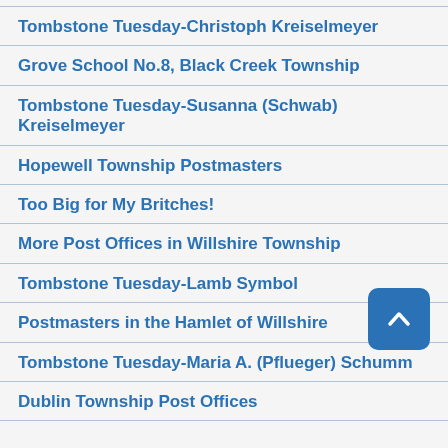Tombstone Tuesday-Christoph Kreiselmeyer
Grove School No.8, Black Creek Township
Tombstone Tuesday-Susanna (Schwab) Kreiselmeyer
Hopewell Township Postmasters
Too Big for My Britches!
More Post Offices in Willshire Township
Tombstone Tuesday-Lamb Symbol
Postmasters in the Hamlet of Willshire
Tombstone Tuesday-Maria A. (Pflueger) Schumm
Dublin Township Post Offices